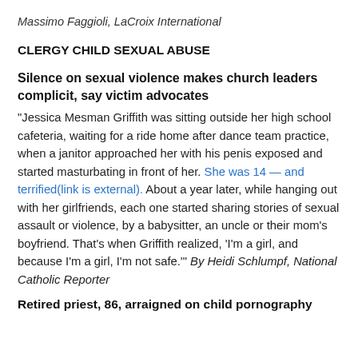Massimo Faggioli, LaCroix International
CLERGY CHILD SEXUAL ABUSE
Silence on sexual violence makes church leaders complicit, say victim advocates
“Jessica Mesman Griffith was sitting outside her high school cafeteria, waiting for a ride home after dance team practice, when a janitor approached her with his penis exposed and started masturbating in front of her. She was 14 — and terrified(link is external). About a year later, while hanging out with her girlfriends, each one started sharing stories of sexual assault or violence, by a babysitter, an uncle or their mom’s boyfriend. That’s when Griffith realized, ‘I’m a girl, and because I’m a girl, I’m not safe.’” By Heidi Schlumpf, National Catholic Reporter
Retired priest, 86, arraigned on child pornography